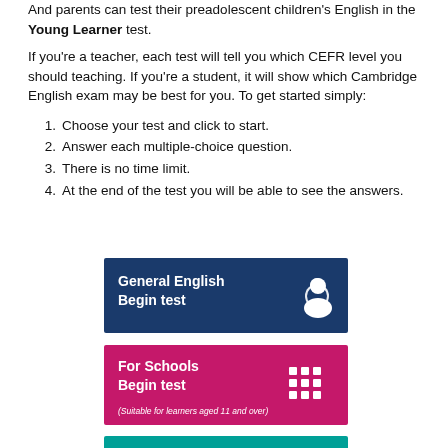And parents can test their preadolescent children's English in the Young Learner test.
If you're a teacher, each test will tell you which CEFR level you should teaching. If you're a student, it will show which Cambridge English exam may be best for you. To get started simply:
1. Choose your test and click to start.
2. Answer each multiple-choice question.
3. There is no time limit.
4. At the end of the test you will be able to see the answers.
[Figure (infographic): Dark blue button labelled 'General English Begin test' with a white person silhouette icon]
[Figure (infographic): Pink/magenta button labelled 'For Schools Begin test' with a white building/school icon and subtitle '(Suitable for learners aged 11 and over)']
[Figure (infographic): Teal/green button labelled 'Business English Begin test' with a white briefcase icon]